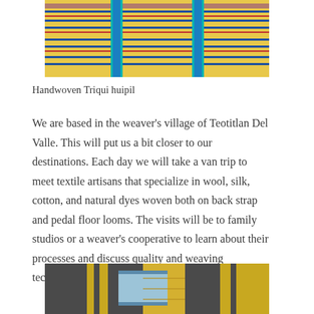[Figure (photo): Handwoven Triqui huipil textile showing yellow fabric with blue and multicolored horizontal stripes, folded/stacked panels visible]
Handwoven Triqui huipil
We are based in the weaver’s village of Teotitlan Del Valle. This will put us a bit closer to our destinations. Each day we will take a van trip to meet textile artisans that specialize in wool, silk, cotton, and natural dyes woven both on back strap and pedal floor looms. The visits will be to family studios or a weaver’s cooperative to learn about their processes and discuss quality and weaving techniques.
[Figure (photo): Woven textile with yellow, gray, light blue and dark geometric patchwork pattern]